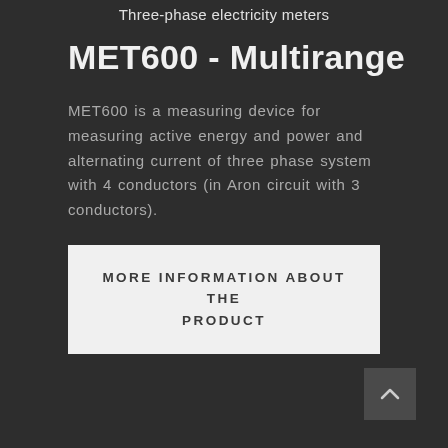Three-phase electricity meters
MET600 - Multirange
MET600 is a measuring device for measuring active energy and power and alternating current of three phase system with 4 conductors (in Aron circuit with 3 conductors).
MORE INFORMATION ABOUT THE PRODUCT
[Figure (other): Back to top arrow button, dark grey square with upward chevron icon]